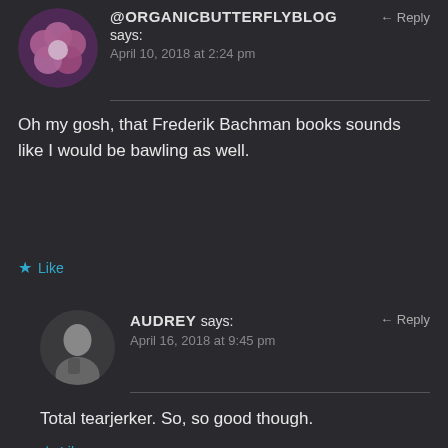@ORGANICBUTTERFLYBLOG says:
April 10, 2018 at 2:24 pm
Oh my gosh, that Frederik Bachman books sounds like I would be bawling as well.
Like
AUDREY says:
April 16, 2018 at 9:45 pm
Total tearjerker. So, so good though.
Like